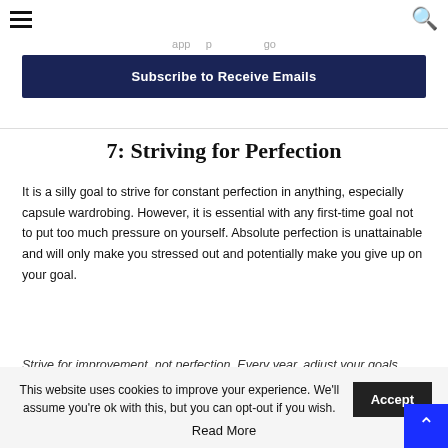[hamburger menu icon] [search icon]
...partially visible text...
Subscribe to Receive Emails
7: Striving for Perfection
It is a silly goal to strive for constant perfection in anything, especially capsule wardrobing. However, it is essential with any first-time goal not to put too much pressure on yourself. Absolute perfection is unattainable and will only make you stressed out and potentially make you give up on your goal.
Strive for improvement, not perfection. Every year, adjust your goals...
This website uses cookies to improve your experience. We'll assume you're ok with this, but you can opt-out if you wish. Accept
Read More